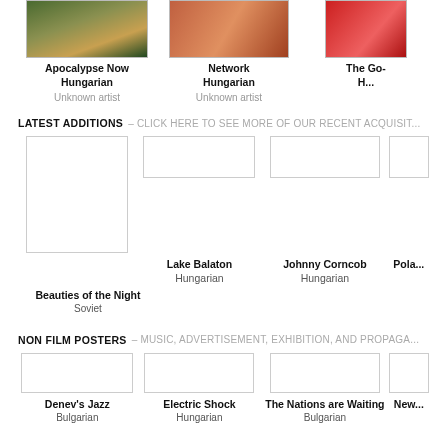[Figure (photo): Movie poster thumbnail for Apocalypse Now Hungarian]
Apocalypse Now
Hungarian
Unknown artist
[Figure (photo): Movie poster thumbnail for Network Hungarian]
Network
Hungarian
Unknown artist
[Figure (photo): Partial movie poster thumbnail for The Go... H...]
The Go...
H...
LATEST ADDITIONS – CLICK HERE TO SEE MORE OF OUR RECENT ACQUISIT...
[Figure (photo): Beauties of the Night poster thumbnail (tall)]
[Figure (photo): Lake Balaton poster thumbnail (empty)]
Lake Balaton
Hungarian
[Figure (photo): Johnny Corncob poster thumbnail (empty)]
Johnny Corncob
Hungarian
[Figure (photo): Pola... poster thumbnail (partial)]
Pola...
Beauties of the Night
Soviet
NON FILM POSTERS – MUSIC, ADVERTISEMENT, EXHIBITION, AND PROPAGA...
[Figure (photo): Denev's Jazz poster (empty)]
Denev's Jazz
Bulgarian
[Figure (photo): Electric Shock poster (empty)]
Electric Shock
Hungarian
[Figure (photo): The Nations are Waiting poster (empty)]
The Nations are Waiting
Bulgarian
[Figure (photo): New... poster (partial)]